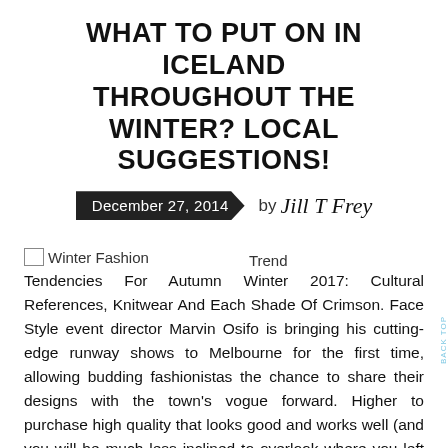WHAT TO PUT ON IN ICELAND THROUGHOUT THE WINTER? LOCAL SUGGESTIONS!
December 27, 2014  by Jill T Frey
[Figure (photo): Broken image placeholder labeled 'Winter Fashion' with 'Trend' text to the right]
Tendencies For Autumn Winter 2017: Cultural References, Knitwear And Each Shade Of Crimson. Face Style event director Marvin Osifo is bringing his cutting-edge runway shows to Melbourne for the first time, allowing budding fashionistas the chance to share their designs with the town's vogue forward. Higher to purchase high quality that looks good and works well (and you will be much less inclined to overlook where you left it). Deal with yourself to two pieces of chosen